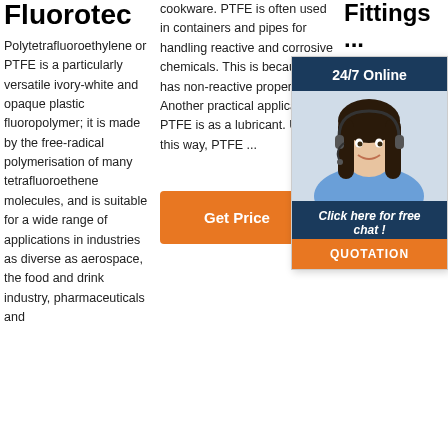Fluorotec
Polytetrafluoroethylene or PTFE is a particularly versatile ivory-white and opaque plastic fluoropolymer; it is made by the free-radical polymerisation of many tetrafluoroethene molecules, and is suitable for a wide range of applications in industries as diverse as aerospace, the food and drink industry, pharmaceuticals and
cookware. PTFE is often used in containers and pipes for handling reactive and corrosive chemicals. This is because it has non-reactive properties. Another practical application of PTFE is as a lubricant. Used in this way, PTFE ...
[Figure (other): Orange 'Get Price' button]
Fittings ...
Manufacturer of PTFE Male Connector . We make Tubing , PTFE Fittings , Valves as needed for corrosion protection and media purity. Brand : KE, Material : PTFE , TEFLON...
[Figure (other): Chat widget overlay showing '24/7 Online' header, photo of woman with headset, 'Click here for free chat!' text, and orange QUOTATION button]
[Figure (other): Partially visible orange Get Price button at bottom right, with TOP watermark logo]